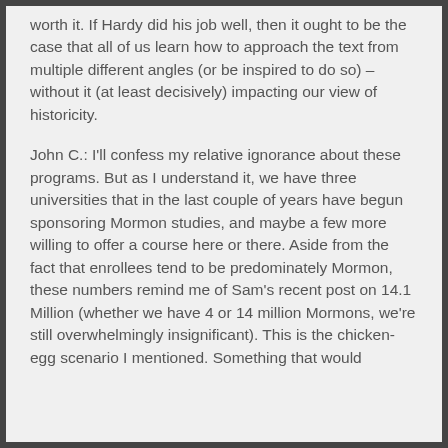worth it. If Hardy did his job well, then it ought to be the case that all of us learn how to approach the text from multiple different angles (or be inspired to do so) – without it (at least decisively) impacting our view of historicity.
John C.: I'll confess my relative ignorance about these programs. But as I understand it, we have three universities that in the last couple of years have begun sponsoring Mormon studies, and maybe a few more willing to offer a course here or there. Aside from the fact that enrollees tend to be predominately Mormon, these numbers remind me of Sam's recent post on 14.1 Million (whether we have 4 or 14 million Mormons, we're still overwhelmingly insignificant). This is the chicken-egg scenario I mentioned. Something that would